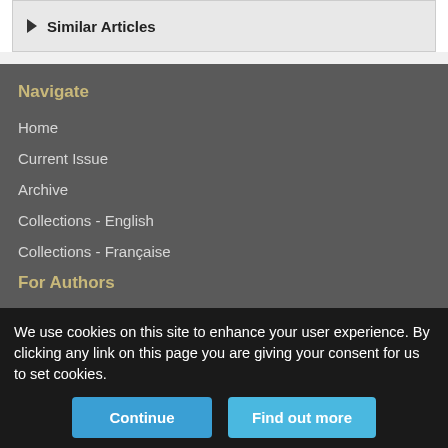▶ Similar Articles
Navigate
Home
Current Issue
Archive
Collections - English
Collections - Française
For Authors
Authors and Reviewers
We use cookies on this site to enhance your user experience. By clicking any link on this page you are giving your consent for us to set cookies.
Continue
Find out more